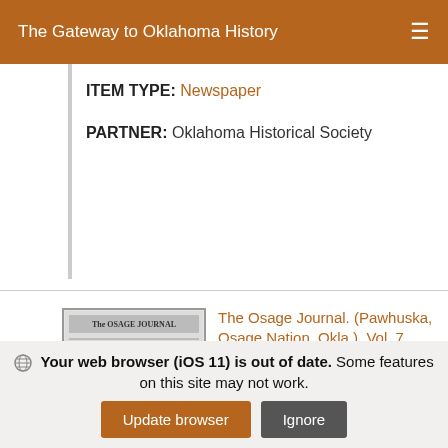The Gateway to Oklahoma History
ITEM TYPE: Newspaper
PARTNER: Oklahoma Historical Society
[Figure (photo): Thumbnail image of The Osage Journal newspaper front page, grayscale, showing columns of text and header.]
The Osage Journal. (Pawhuska, Osage Nation, Okla.), Vol. 7, No. 28, Ed. 1 Saturday, December 23, 1905
Weekly newspaper from Pawhuska, Oklahoma Territory that includes local, territorial, and national news along with advertising.
Your web browser (iOS 11) is out of date. Some features on this site may not work.